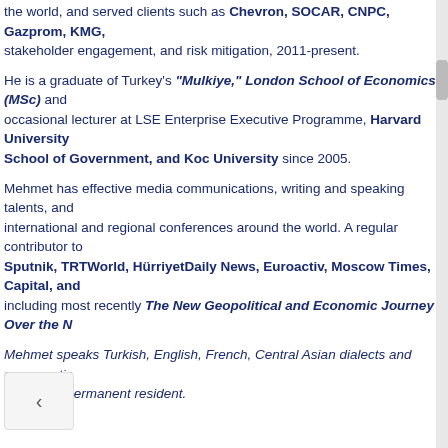the world, and served clients such as Chevron, SOCAR, CNPC, Gazprom, KMG, stakeholder engagement, and risk mitigation, 2011-present.
He is a graduate of Turkey's "Mulkiye," London School of Economics (MSc) and occasional lecturer at LSE Enterprise Executive Programme, Harvard University School of Government, and Koc University since 2005.
Mehmet has effective media communications, writing and speaking talents, and international and regional conferences around the world. A regular contributor to Sputnik, TRTWorld, HürriyetDaily News, Euroactiv, Moscow Times, Capital, and including most recently The New Geopolitical and Economic Journey Over the N
Mehmet speaks Turkish, English, French, Central Asian dialects and conversatio and is UK permanent resident.